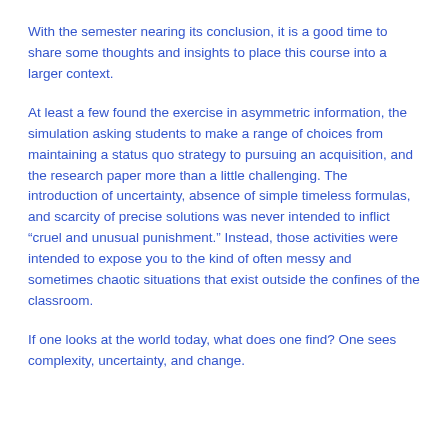With the semester nearing its conclusion, it is a good time to share some thoughts and insights to place this course into a larger context.
At least a few found the exercise in asymmetric information, the simulation asking students to make a range of choices from maintaining a status quo strategy to pursuing an acquisition, and the research paper more than a little challenging. The introduction of uncertainty, absence of simple timeless formulas, and scarcity of precise solutions was never intended to inflict “cruel and unusual punishment.” Instead, those activities were intended to expose you to the kind of often messy and sometimes chaotic situations that exist outside the confines of the classroom.
If one looks at the world today, what does one find? One sees complexity, uncertainty, and change.